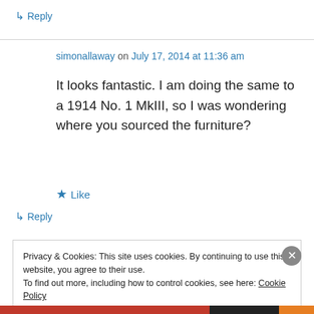↳ Reply
simonallaway on July 17, 2014 at 11:36 am
It looks fantastic. I am doing the same to a 1914 No. 1 MkIII, so I was wondering where you sourced the furniture?
★ Like
↳ Reply
Privacy & Cookies: This site uses cookies. By continuing to use this website, you agree to their use.
To find out more, including how to control cookies, see here: Cookie Policy
Close and accept